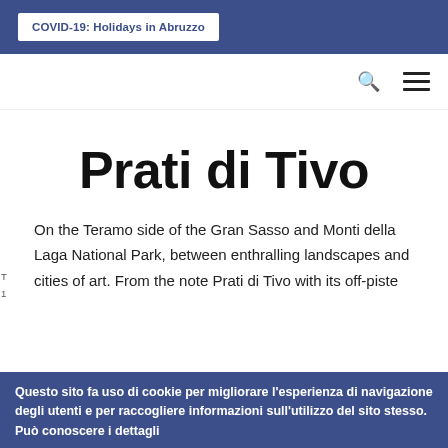COVID-19: Holidays in Abruzzo
Prati di Tivo
On the Teramo side of the Gran Sasso and Monti della Laga National Park, between enthralling landscapes and cities of art. From the note Prati di Tivo with its off-piste
Questo sito fa uso di cookie per migliorare l'esperienza di navigazione degli utenti e per raccogliere informazioni sull'utilizzo del sito stesso. Può conoscere i dettagli